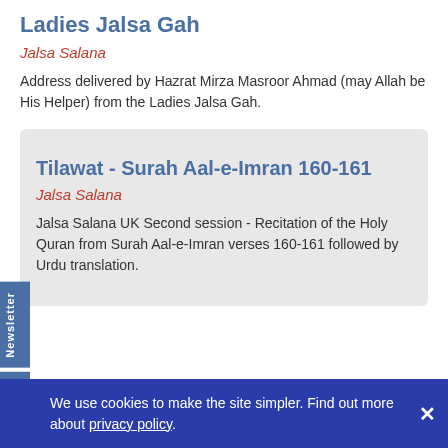Ladies Jalsa Gah
Jalsa Salana
Address delivered by Hazrat Mirza Masroor Ahmad (may Allah be His Helper) from the Ladies Jalsa Gah.
Tilawat - Surah Aal-e-Imran 160-161
Jalsa Salana
Jalsa Salana UK Second session - Recitation of the Holy Quran from Surah Aal-e-Imran verses 160-161 followed by Urdu translation.
We use cookies to make the site simpler. Find out more about privacy policy.